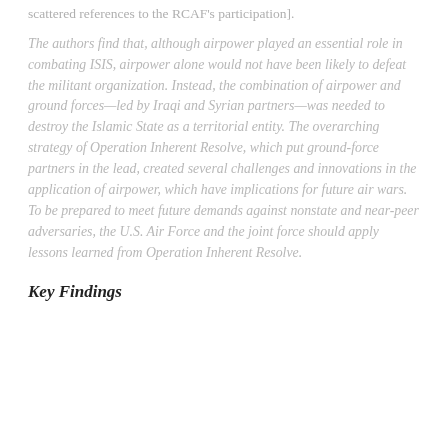scattered references to the RCAF's participation].
The authors find that, although airpower played an essential role in combating ISIS, airpower alone would not have been likely to defeat the militant organization. Instead, the combination of airpower and ground forces—led by Iraqi and Syrian partners—was needed to destroy the Islamic State as a territorial entity. The overarching strategy of Operation Inherent Resolve, which put ground-force partners in the lead, created several challenges and innovations in the application of airpower, which have implications for future air wars. To be prepared to meet future demands against nonstate and near-peer adversaries, the U.S. Air Force and the joint force should apply lessons learned from Operation Inherent Resolve.
Key Findings